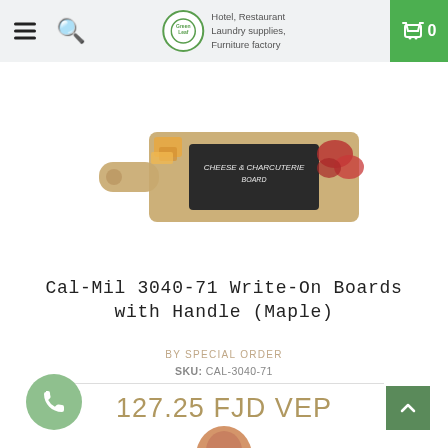Hotel, Restaurant Laundry supplies, Furniture factory
[Figure (photo): Cal-Mil 3040-71 Write-On Boards with Handle (Maple) product photo — a rectangular maple wood serving board with a handle, with chalkboard insert and food items on top]
Cal-Mil 3040-71 Write-On Boards with Handle (Maple)
BY SPECIAL ORDER
SKU: CAL-3040-71
127.25 FJD VEP